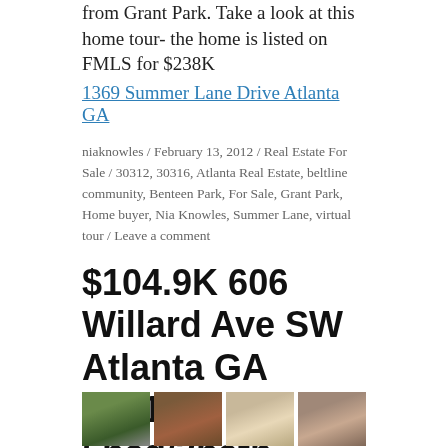from Grant Park.  Take a look at this home tour- the home is listed on FMLS for $238K
1369 Summer Lane Drive Atlanta GA
niaknowles / February 13, 2012 / Real Estate For Sale / 30312, 30316, Atlanta Real Estate, beltline community, Benteen Park, For Sale, Grant Park, Home buyer, Nia Knowles, Summer Lane, virtual tour / Leave a comment
$104.9K 606 Willard Ave SW Atlanta GA 30310 5bed/3bath
[Figure (photo): Four property photos of 606 Willard Ave SW Atlanta GA 30310 showing exterior and interior views]